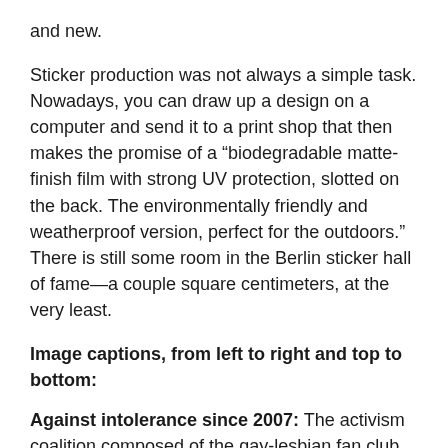and new.
Sticker production was not always a simple task. Nowadays, you can draw up a design on a computer and send it to a print shop that then makes the promise of a “biodegradable matte-finish film with strong UV protection, slotted on the back. The environmentally friendly and weatherproof version, perfect for the outdoors.” There is still some room in the Berlin sticker hall of fame—a couple square centimeters, at the very least.
Image captions, from left to right and top to bottom:
Against intolerance since 2007: The activism coalition composed of the gay-lesbian fan club “Queerpass Sankt Pauli” and the fan scene of the soccer team FC St. Pauli fights every form of discrimination, and not only in the